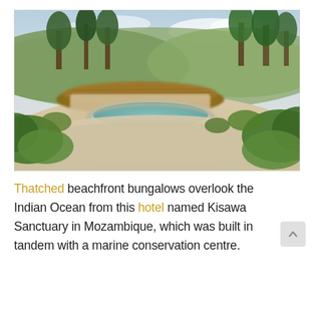[Figure (photo): Aerial/elevated view of Kisawa Sanctuary in Mozambique showing thatched beachfront bungalows with a circular pool, surrounded by lush green vegetation and sandy terrain under a partly cloudy sky.]
Thatched beachfront bungalows overlook the Indian Ocean from this hotel named Kisawa Sanctuary in Mozambique, which was built in tandem with a marine conservation centre.